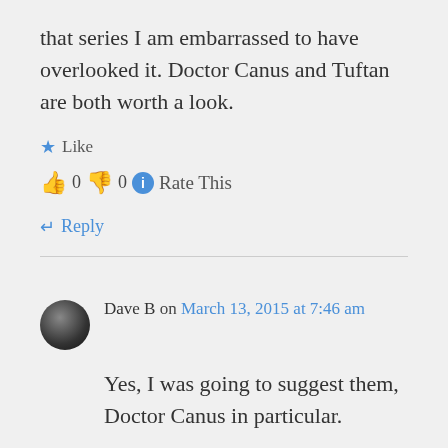having just blogged about that series I am embarrassed to have overlooked it. Doctor Canus and Tuftan are both worth a look.
★ Like
👍 0 👎 0 ℹ Rate This
↵ Reply
Dave B on March 13, 2015 at 7:46 am
Yes, I was going to suggest them, Doctor Canus in particular.